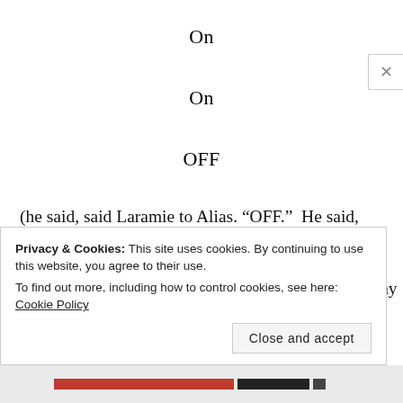On
On
OFF
(he said, said Laramie to Alias. “OFF.”  He said, said Laramie to Alias.  And then he was gone.  Really.  Gone.)
Sometimes it happens this way
Privacy & Cookies: This site uses cookies. By continuing to use this website, you agree to their use.
To find out more, including how to control cookies, see here: Cookie Policy
Close and accept